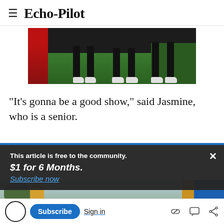Echo-Pilot
[Figure (photo): Partial photo showing legs and feet standing on a green turf field, with dark pants and white shoes; red equipment or signage visible on the left.]
"It's gonna be a good show," said Jasmine, who is a senior.
This article is free to the community.
$1 for 6 Months.
Subscribe now
[Figure (photo): Partial photo of people standing outdoors, some holding brass instruments, with trees and a parking lot visible in the background.]